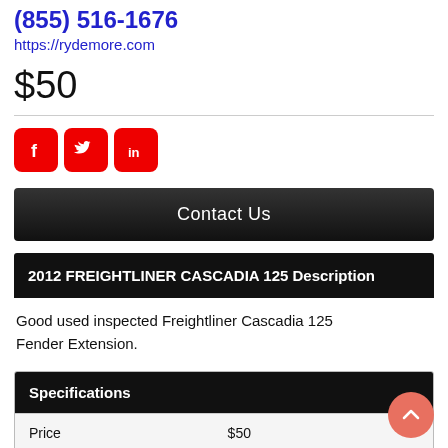(855) 516-1676
https://rydemore.com
$50
[Figure (illustration): Social share icons: Facebook, Twitter, LinkedIn — all red with white logos]
Contact Us
2012 FREIGHTLINER CASCADIA 125 Description
Good used inspected Freightliner Cascadia 125 Fender Extension.
| Specifications |  |
| --- | --- |
| Price | $50 |
| Stock # | 1008601 |